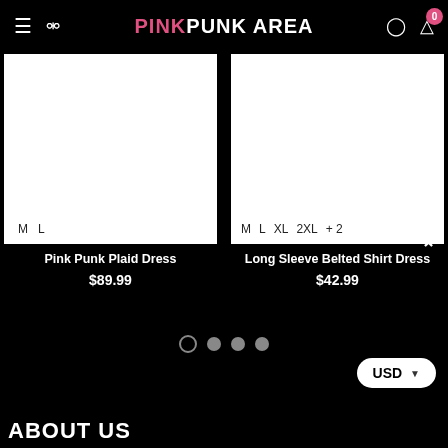PINK PUNK AREA
[Figure (photo): Product image for Pink Punk Plaid Dress, white background, sizes M and L shown]
[Figure (photo): Product image for Long Sleeve Belted Shirt Dress, white background, sizes M, L, XL, 2XL, +2 shown]
Pink Punk Plaid Dress
$89.99
Long Sleeve Belted Shirt Dress
$42.99
USD
ABOUT US